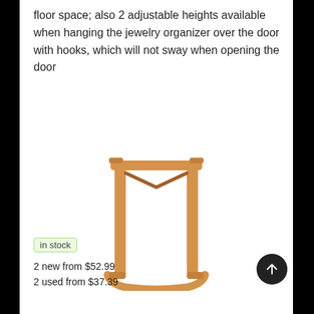floor space; also 2 adjustable heights available when hanging the jewelry organizer over the door with hooks, which will not sway when opening the door
[Figure (photo): A tall narrow wooden stand or organizer frame with two vertical posts connected by a cross brace at the top and curved feet at the bottom, made of light natural wood.]
in stock
2 new from $52.99
2 used from $37.39